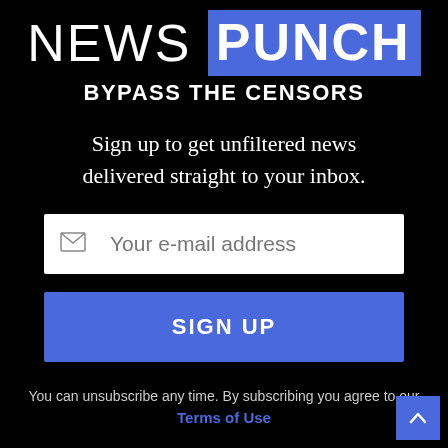NEWS PUNCH
BYPASS THE CENSORS
Sign up to get unfiltered news delivered straight to your inbox.
Your e-mail address
SIGN UP
You can unsubscribe any time. By subscribing you agree to our Terms of Use